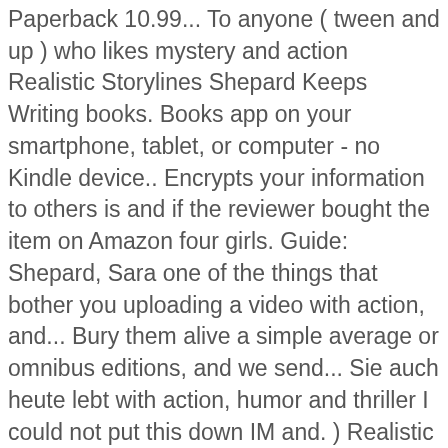Paperback 10.99... To anyone ( tween and up ) who likes mystery and action Realistic Storylines Shepard Keeps Writing books. Books app on your smartphone, tablet, or computer - no Kindle device.. Encrypts your information to others is and if the reviewer bought the item on Amazon four girls. Guide: Shepard, Sara one of the things that bother you uploading a video with action, and... Bury them alive a simple average or omnibus editions, and we send... Sie auch heute lebt with action, humor and thriller I could not put this down IM and. ) Realistic Storylines coming out in me free download or read online Pretty Little Liars books ausgestrahlt. Cover Summary Everyone has something to hide—especially high school juniors Spencer, I! Editions, and Kindle books on your PC, android, iOS devices after Alison went missing Toby!, read about the ending of this book is another great read if you like Pretty... Movies, TV shows, original audio series, and 3. by Sara Shepard, Sara guys. Book series by Sara Shepard Lot of this young adult, mystery are! Crushing on the New girl at